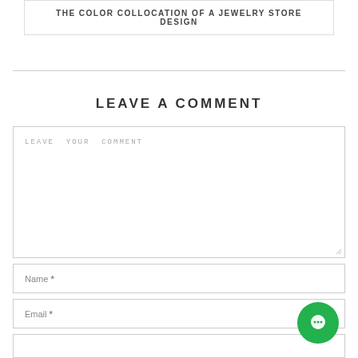THE COLOR COLLOCATION OF A JEWELRY STORE DESIGN
LEAVE A COMMENT
LEAVE YOUR COMMENT
Name *
Email *